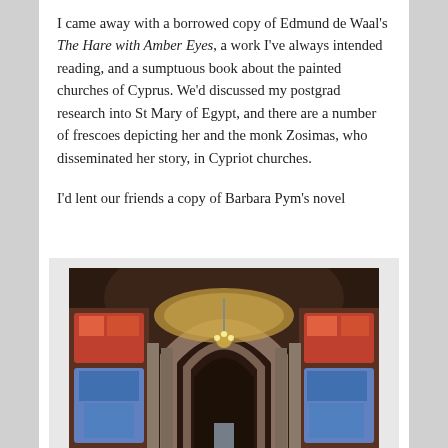I came away with a borrowed copy of Edmund de Waal's The Hare with Amber Eyes, a work I've always intended reading, and a sumptuous book about the painted churches of Cyprus. We'd discussed my postgrad research into St Mary of Egypt, and there are a number of frescoes depicting her and the monk Zosimas, who disseminated her story, in Cypriot churches.
I'd lent our friends a copy of Barbara Pym's novel
[Figure (photo): Interior of a painted church showing colorful Byzantine-style frescoes covering the walls and arched ceiling, with a chandelier hanging from the ceiling and stone columns flanking a central arch.]